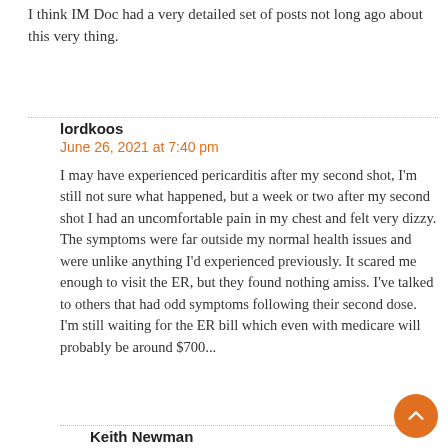I think IM Doc had a very detailed set of posts not long ago about this very thing.
lordkoos
June 26, 2021 at 7:40 pm
I may have experienced pericarditis after my second shot, I'm still not sure what happened, but a week or two after my second shot I had an uncomfortable pain in my chest and felt very dizzy. The symptoms were far outside my normal health issues and were unlike anything I'd experienced previously. It scared me enough to visit the ER, but they found nothing amiss. I've talked to others that had odd symptoms following their second dose. I'm still waiting for the ER bill which even with medicare will probably be around $700...
Keith Newman
June 26, 2021 at 9:29 pm